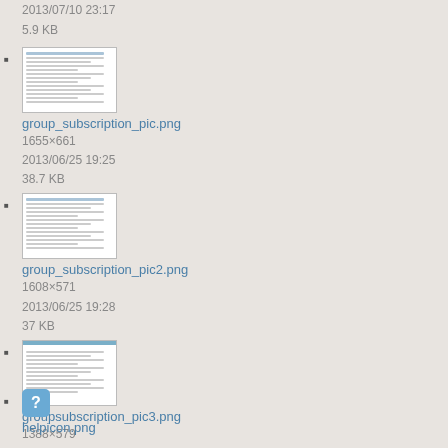2013/07/10 23:17
5.9 KB
group_subscription_pic.png
1655×661
2013/06/25 19:25
38.7 KB
group_subscription_pic2.png
1608×571
2013/06/25 19:28
37 KB
groupsubscription_pic3.png
1388×579
2014/02/05 00:35
25.5 KB
helpicon.png